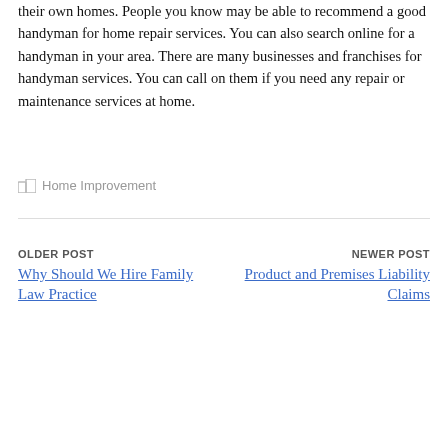their own homes. People you know may be able to recommend a good handyman for home repair services. You can also search online for a handyman in your area. There are many businesses and franchises for handyman services. You can call on them if you need any repair or maintenance services at home.
Home Improvement
OLDER POST
Why Should We Hire Family Law Practice
NEWER POST
Product and Premises Liability Claims